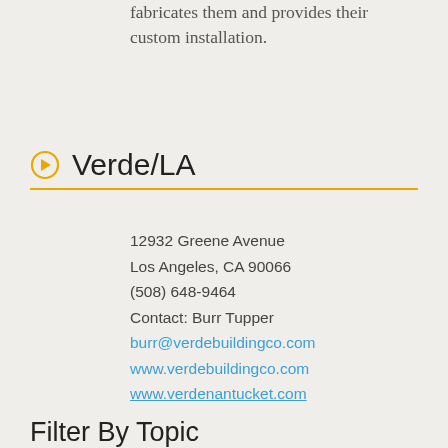fabricates them and provides their custom installation.
Verde/LA
12932 Greene Avenue
Los Angeles, CA 90066
(508) 648-9464
Contact: Burr Tupper
burr@verdebuildingco.com
www.verdebuildingco.com
www.verdenantucket.com
Filter By Topic